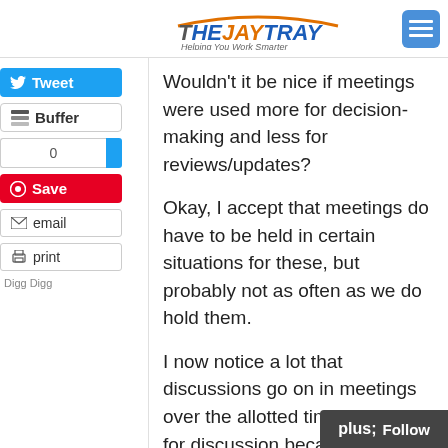THEJAYTRAY Helping You Work Smarter
[Figure (logo): TheJayTray logo with tagline 'Helping You Work Smarter']
Wouldn't it be nice if meetings were used more for decision-making and less for reviews/updates?
Okay, I accept that meetings do have to be held in certain situations for these, but probably not as often as we do hold them.
I now notice a lot that discussions go on in meetings over the allotted time allowed for discussion because in most cases, this is the first time all attendees have reviewed the material or topic being discussed.
Wouldn't it be better if they were sent the